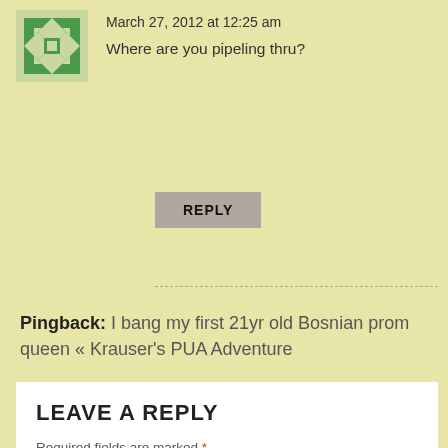March 27, 2012 at 12:25 am
Where are you pipeling thru?
REPLY
Pingback: I bang my first 21yr old Bosnian prom queen « Krauser's PUA Adventure
LEAVE A REPLY
Required fields are marked *.
Message *